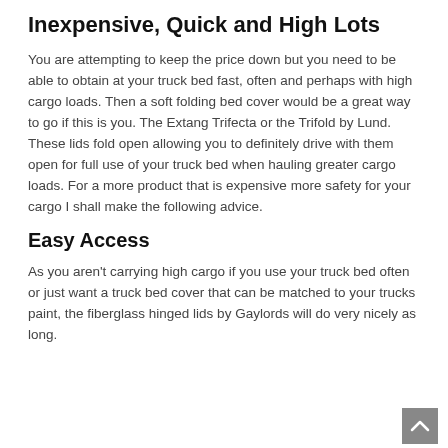Inexpensive, Quick and High Lots
You are attempting to keep the price down but you need to be able to obtain at your truck bed fast, often and perhaps with high cargo loads. Then a soft folding bed cover would be a great way to go if this is you. The Extang Trifecta or the Trifold by Lund. These lids fold open allowing you to definitely drive with them open for full use of your truck bed when hauling greater cargo loads. For a more product that is expensive more safety for your cargo I shall make the following advice.
Easy Access
As you aren't carrying high cargo if you use your truck bed often or just want a truck bed cover that can be matched to your trucks paint, the fiberglass hinged lids by Gaylords will do very nicely as long.